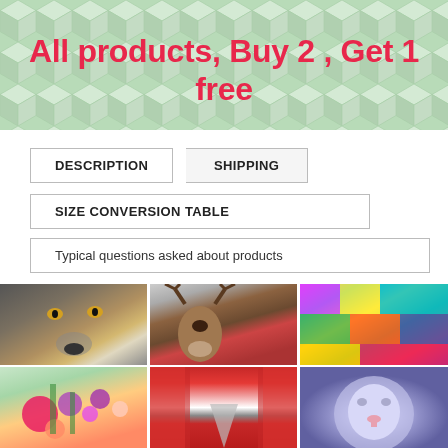All products, Buy 2 , Get 1 free
DESCRIPTION
SHIPPING
SIZE CONVERSION TABLE
Typical questions asked about products
[Figure (photo): Grid of 6 diamond painting / cross-stitch artwork photos: wolf face, deer with antlers, colorful stained-glass style art (Mickey Mouse), flower bouquet, red autumn road, white lion face]
[Figure (illustration): Green geometric hex cube pattern background header]